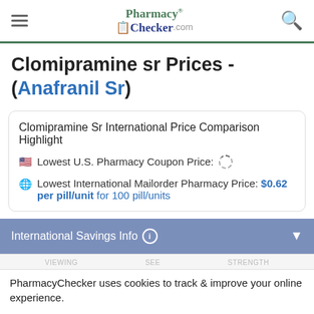PharmacyChecker.com
Clomipramine sr Prices - (Anafranil Sr)
Clomipramine Sr International Price Comparison Highlight
Lowest U.S. Pharmacy Coupon Price: [loading]
Lowest International Mailorder Pharmacy Price: $0.62 per pill/unit for 100 pill/units
International Savings Info
PharmacyChecker uses cookies to track & improve your online experience.